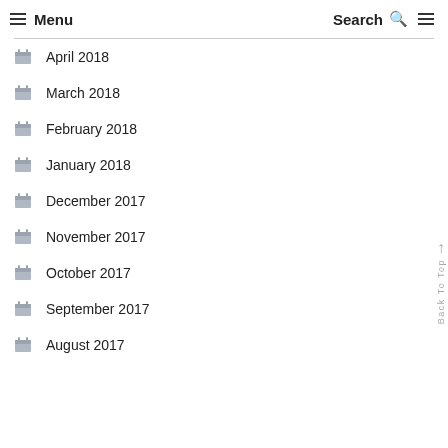Menu  Search
April 2018
March 2018
February 2018
January 2018
December 2017
November 2017
October 2017
September 2017
August 2017